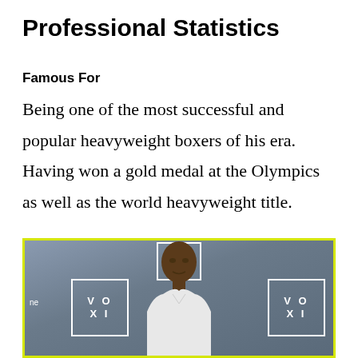Professional Statistics
Famous For
Being one of the most successful and popular heavyweight boxers of his era. Having won a gold medal at the Olympics as well as the world heavyweight title.
[Figure (photo): Photo of a heavyweight boxer standing in front of a grey backdrop with VOXI logos, wearing a white shirt. The image has a yellow-green border.]